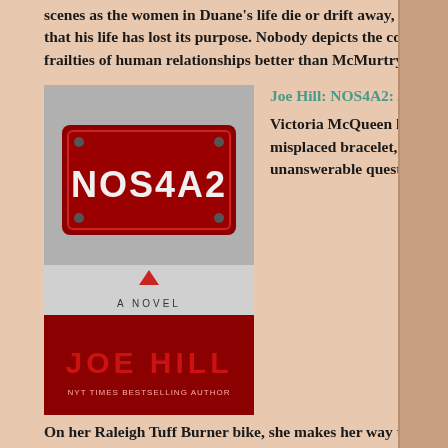scenes as the women in Duane's life die or drift away, and Duane befriends a rhino and realizes that his life has lost its purpose. Nobody depicts the complexities of smalltown Texas life and the frailties of human relationships better than McMurtry. (***)
[Figure (photo): Book cover of NOS4A2: A Novel by Joe Hill, showing a red license plate reading NOS4A2 and the author's name JOE HILL in red letters at the bottom]
Joe Hill: NOS4A2: A Novel
Victoria McQueen has a secret gift for finding things: a misplaced bracelet, a missing photograph, answers to unanswerable questions. On her Raleigh Tuff Burner bike, she makes her way to a rickety covered bridge that, within moments, takes her wherever she needs to go, whether it's across Massachusetts or across the country. Charles Talent Manx has a way with children. He likes to take them for rides in his 1938 Rolls-Royce Wraith, with the